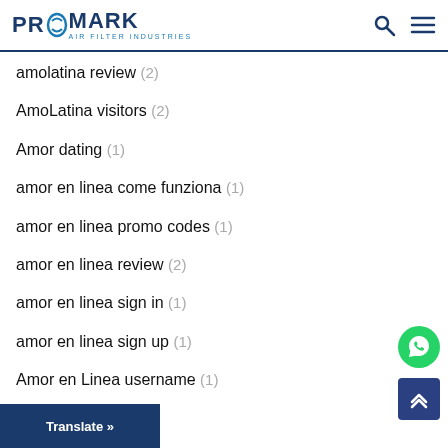PROMARK AIR FILTER INDUSTRIES
amolatina review (2)
AmoLatina visitors (2)
Amor dating (1)
amor en linea come funziona (1)
amor en linea promo codes (1)
amor en linea review (2)
amor en linea sign in (1)
amor en linea sign up (1)
Amor en Linea username (1)
a...ors (2)